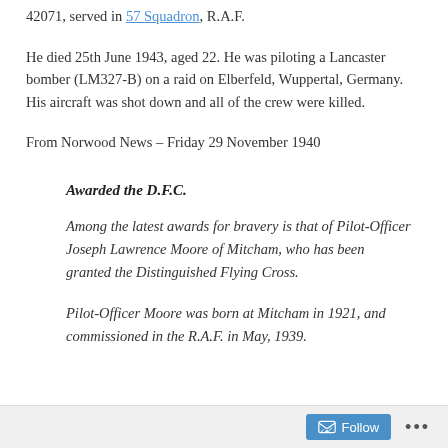42071, served in 57 Squadron, R.A.F.
He died 25th June 1943, aged 22. He was piloting a Lancaster bomber (LM327-B) on a raid on Elberfeld, Wuppertal, Germany. His aircraft was shot down and all of the crew were killed.
From Norwood News – Friday 29 November 1940
Awarded the D.F.C.
Among the latest awards for bravery is that of Pilot-Officer Joseph Lawrence Moore of Mitcham, who has been granted the Distinguished Flying Cross.
Pilot-Officer Moore was born at Mitcham in 1921, and commissioned in the R.A.F. in May, 1939.
Follow ...